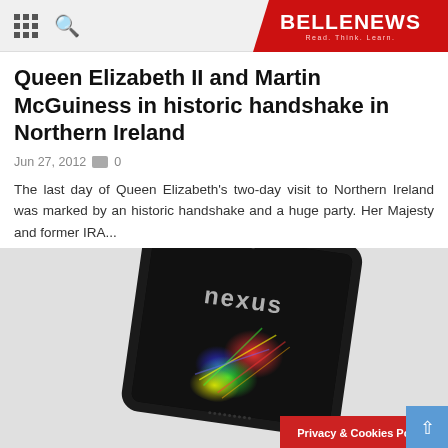BELLE NEWS — Read. Think. Learn.
Queen Elizabeth II and Martin McGuiness in historic handshake in Northern Ireland
Jun 27, 2012  0
The last day of Queen Elizabeth's two-day visit to Northern Ireland was marked by an historic handshake and a huge party. Her Majesty and former IRA...
[Figure (photo): Photo of a Nexus tablet device displayed at an angle showing the Nexus logo on screen with colorful light streaks]
Privacy & Cookies Policy